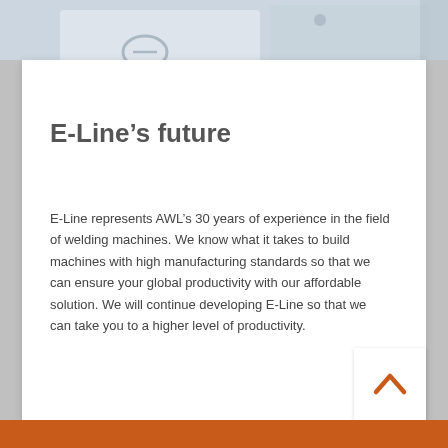[Figure (photo): Top portion of a welding machine, light gray and white colors, industrial equipment photo]
E-Line’s future
E-Line represents AWL’s 30 years of experience in the field of welding machines. We know what it takes to build machines with high manufacturing standards so that we can ensure your global productivity with our affordable solution. We will continue developing E-Line so that we can take you to a higher level of productivity.